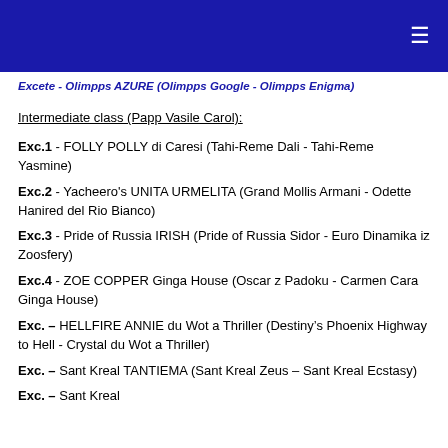☰
Excete - Olimpps AZURE (Olimpps Google - Olimpps Enigma)
Intermediate class (Papp Vasile Carol):
Exc.1 - FOLLY POLLY di Caresi (Tahi-Reme Dali - Tahi-Reme Yasmine)
Exc.2 - Yacheero's UNITA URMELITA (Grand Mollis Armani - Odette Hanired del Rio Bianco)
Exc.3 - Pride of Russia IRISH (Pride of Russia Sidor - Euro Dinamika iz Zoosfery)
Exc.4 - ZOE COPPER Ginga House (Oscar z Padoku - Carmen Cara Ginga House)
Exc. – HELLFIRE ANNIE du Wot a Thriller (Destiny's Phoenix Highway to Hell - Crystal du Wot a Thriller)
Exc. – Sant Kreal TANTIEMA (Sant Kreal Zeus – Sant Kreal Ecstasy)
Exc. – ...